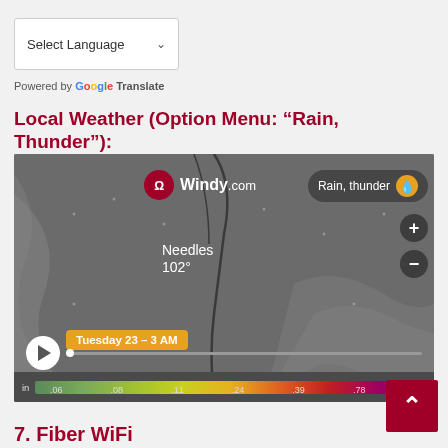[Figure (screenshot): Select Language dropdown widget with Google Translate branding]
Powered by Google Translate
Local Weather (Option Menu: “Rain, Thunder”):
[Figure (screenshot): Windy.com weather map screenshot showing 'Rain, thunder' overlay with Needles 102° label, time scrubber at Tuesday 23 - 3 AM, and rainfall color scale bar at bottom]
7. Fiber WiFi